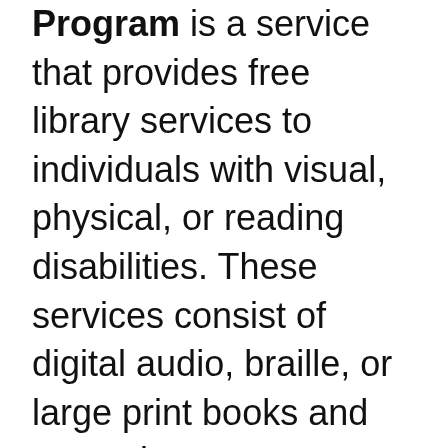Program is a service that provides free library services to individuals with visual, physical, or reading disabilities. These services consist of digital audio, braille, or large print books and magazines.

More information can be found by visiting the Texas